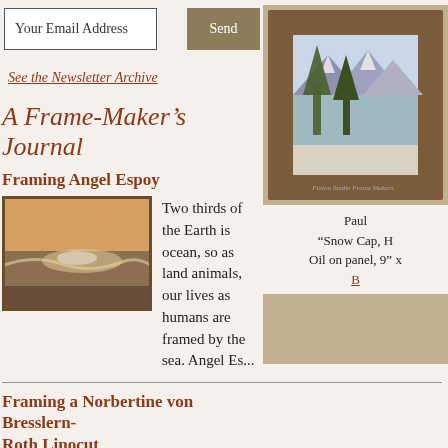Your Email Address
Send
See the Newsletter Archive
A Frame-Maker's Journal
Framing Angel Espoy
[Figure (photo): Framed oil painting of ocean waves at sunset]
Two thirds of the Earth is ocean, so as land animals, our lives as humans are framed by the sea. Angel Es...
Framing a Norbertine von Bresslern-Roth Linocut
[Figure (photo): Framed linocut print]
This is a linoleum block print by Norbertine von
[Figure (photo): Framed landscape painting in dark wooden frame showing trees and mountain with snow]
Paul
"Snow Cap, H
Oil on panel, 9" x
B…
[Figure (photo): Bottom partial image]